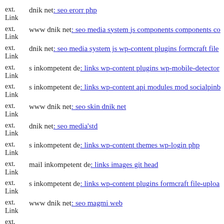ext. Link dnik net: seo erorr php
ext. Link www dnik net: seo media system js components components co
ext. Link dnik net: seo media system js wp-content plugins formcraft file
ext. Link s inkompetent de: links wp-content plugins wp-mobile-detector
ext. Link s inkompetent de: links wp-content api modules mod socialpinb
ext. Link www dnik net: seo skin dnik net
ext. Link dnik net: seo media'std
ext. Link s inkompetent de: links wp-content themes wp-login php
ext. Link mail inkompetent de: links images git head
ext. Link s inkompetent de: links wp-content plugins formcraft file-uploa
ext. Link www dnik net: seo magmi web
ext.